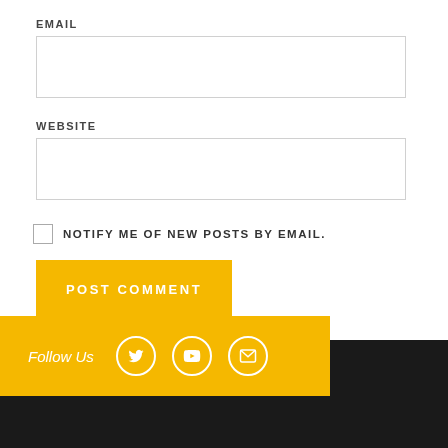EMAIL
WEBSITE
NOTIFY ME OF NEW POSTS BY EMAIL.
POST COMMENT
Follow Us
[Figure (infographic): Footer bar with Follow Us label and Twitter, YouTube, and email social icons in white circles on yellow background, over dark footer.]